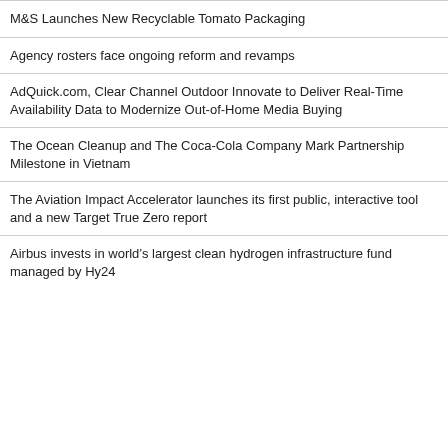M&S Launches New Recyclable Tomato Packaging
Agency rosters face ongoing reform and revamps
AdQuick.com, Clear Channel Outdoor Innovate to Deliver Real-Time Availability Data to Modernize Out-of-Home Media Buying
The Ocean Cleanup and The Coca-Cola Company Mark Partnership Milestone in Vietnam
The Aviation Impact Accelerator launches its first public, interactive tool and a new Target True Zero report
Airbus invests in world’s largest clean hydrogen infrastructure fund managed by Hy24